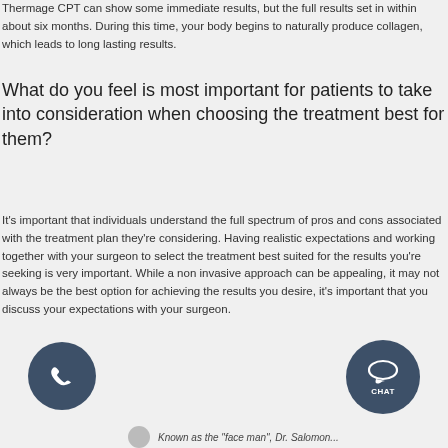Thermage CPT can show some immediate results, but the full results set in within about six months. During this time, your body begins to naturally produce collagen, which leads to long lasting results.
What do you feel is most important for patients to take into consideration when choosing the treatment best for them?
It's important that individuals understand the full spectrum of pros and cons associated with the treatment plan they're considering. Having realistic expectations and working together with your surgeon to select the treatment best suited for the results you're seeking is very important. While a non invasive approach can be appealing, it may not always be the best option for achieving the results you desire, it's important that you discuss your expectations with your surgeon.
[Figure (other): Phone call button (dark blue circle with phone icon) and Chat button (dark blue circle with CHAT text and speech bubble icon) overlaid on the page]
Known as the "face man", Dr. Salomon...